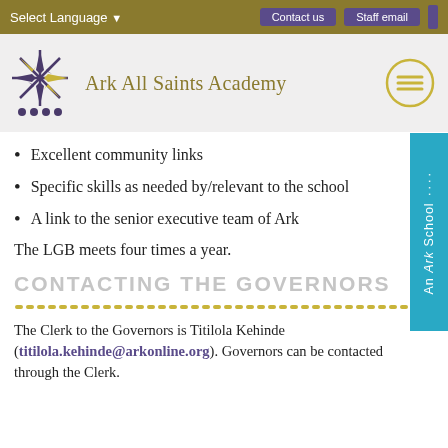Select Language ▾   Contact us   Staff email
[Figure (logo): Ark All Saints Academy logo with star/compass rose graphic and four dots below, plus hamburger menu circle icon]
Excellent community links
Specific skills as needed by/relevant to the school
A link to the senior executive team of Ark
The LGB meets four times a year.
CONTACTING THE GOVERNORS
The Clerk to the Governors is Titilola Kehinde (titilola.kehinde@arkonline.org). Governors can be contacted through the Clerk.